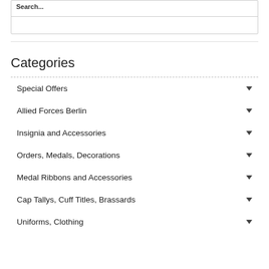Categories
Special Offers
Allied Forces Berlin
Insignia and Accessories
Orders, Medals, Decorations
Medal Ribbons and Accessories
Cap Tallys, Cuff Titles, Brassards
Uniforms, Clothing